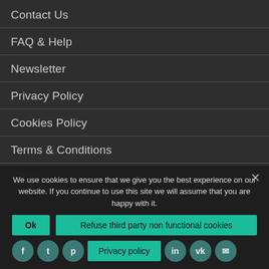Contact Us
FAQ & Help
Newsletter
Privacy Policy
Cookies Policy
Terms & Conditions
Imprint
WORLD TRAVELER CLUB
Forum
We use cookies to ensure that we give you the best experience on our website. If you continue to use this site we will assume that you are happy with it.
Ok
Refuse third party non functional cookies
Privacy policy